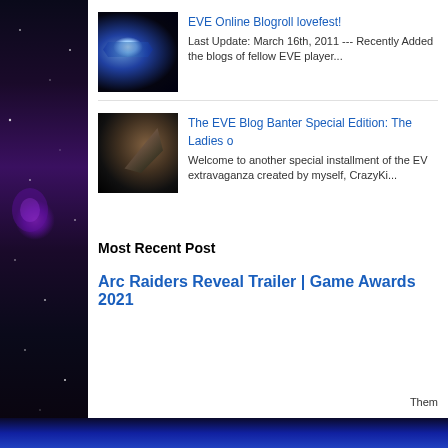[Figure (screenshot): Thumbnail image of EVE Online spaceship with blue light]
EVE Online Blogroll lovefest!
Last Update: March 16th, 2011  ---  Recently Added the blogs of fellow EVE player...
[Figure (screenshot): Thumbnail image of EVE Online spaceship in brown/dark tones]
The EVE Blog Banter Special Edition: The Ladies o
Welcome to another  special installment  of the  EV extravaganza created by myself,  CrazyKi...
Most Recent Post
Arc Raiders Reveal Trailer | Game Awards 2021
Them